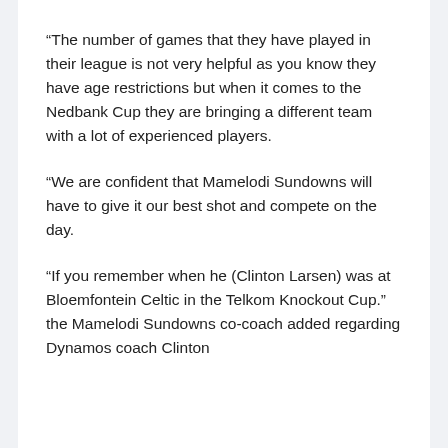“The number of games that they have played in their league is not very helpful as you know they have age restrictions but when it comes to the Nedbank Cup they are bringing a different team with a lot of experienced players.
“We are confident that Mamelodi Sundowns will have to give it our best shot and compete on the day.
“If you remember when he (Clinton Larsen) was at Bloemfontein Celtic in the Telkom Knockout Cup.” the Mamelodi Sundowns co-coach added regarding Dynamos coach Clinton